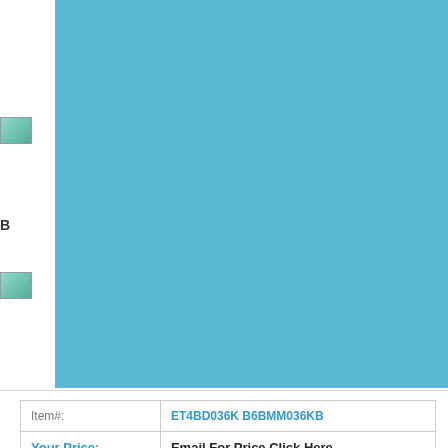[Figure (screenshot): Blue product image area with white arrow indicators on right side, partially visible website UI with logo thumbnail, search bar, and 'Add to Cart' link at top right]
| Item#: | ET4BD036K B6BMM036KB |
| Your Price: | Email For Price Click Here |
| Choose QTY: | 1 (dropdown) |
[Figure (illustration): Watch icon with 'watch' label and make icon with 'make' label]
[Figure (illustration): Four small share/social icons in a row]
Product Details
Email For Price Click Here